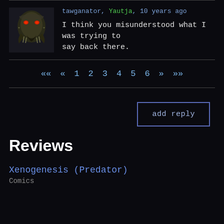tawganator, Yautja, 10 years ago
I think you misunderstood what I was trying to say back there.
«« « 1 2 3 4 5 6 » »»
add reply
Reviews
Xenogenesis (Predator)
Comics